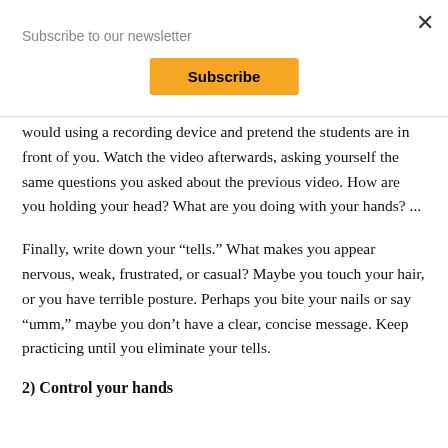Subscribe to our newsletter
Subscribe
would using a recording device and pretend the students are in front of you. Watch the video afterwards, asking yourself the same questions you asked about the previous video. How are you holding your head? What are you doing with your hands? ...
Finally, write down your “tells.” What makes you appear nervous, weak, frustrated, or casual? Maybe you touch your hair, or you have terrible posture. Perhaps you bite your nails or say “umm,” maybe you don’t have a clear, concise message. Keep practicing until you eliminate your tells.
2) Control your hands